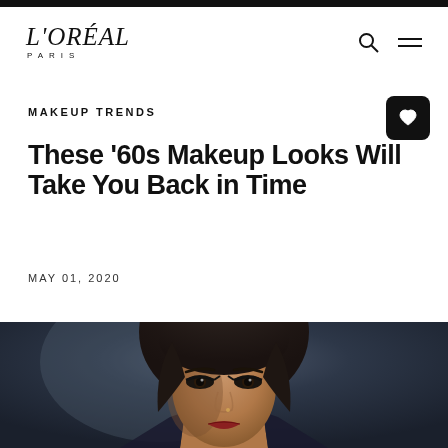L'ORÉAL PARIS
MAKEUP TRENDS
These '60s Makeup Looks Will Take You Back in Time
MAY 01, 2020
[Figure (photo): Portrait of a young woman with dark hair and 1960s-style eye makeup against a dark blue-grey background, photo cropped at the bottom of the page]